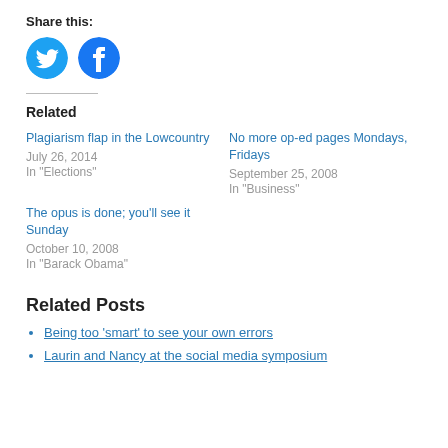Share this:
[Figure (illustration): Twitter and Facebook circular share icons in blue]
Related
Plagiarism flap in the Lowcountry
July 26, 2014
In "Elections"
No more op-ed pages Mondays, Fridays
September 25, 2008
In "Business"
The opus is done; you'll see it Sunday
October 10, 2008
In "Barack Obama"
Related Posts
Being too 'smart' to see your own errors
Laurin and Nancy at the social media symposium